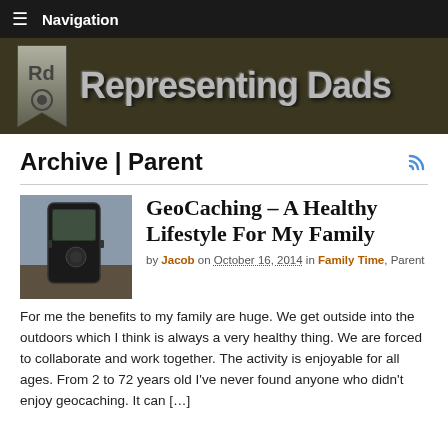≡ Navigation
[Figure (logo): Representing Dads blog banner with logo icon and metallic text]
Archive | Parent
GeoCaching – A Healthy Lifestyle For My Family
by Jacob on October 16, 2014 in Family Time, Parent
For me the benefits to my family are huge. We get outside into the outdoors which I think is always a very healthy thing. We are forced to collaborate and work together. The activity is enjoyable for all ages. From 2 to 72 years old I've never found anyone who didn't enjoy geocaching. It can […]